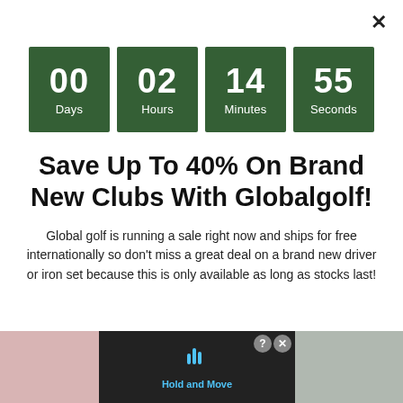×
[Figure (infographic): Countdown timer showing 4 dark green boxes: 00 Days, 02 Hours, 14 Minutes, 55 Seconds]
Save Up To 40% On Brand New Clubs With Globalgolf!
Global golf is running a sale right now and ships for free internationally so don't miss a great deal on a brand new driver or iron set because this is only available as long as stocks last!
[Figure (screenshot): Bottom advertisement strip with Hold and Move overlay]